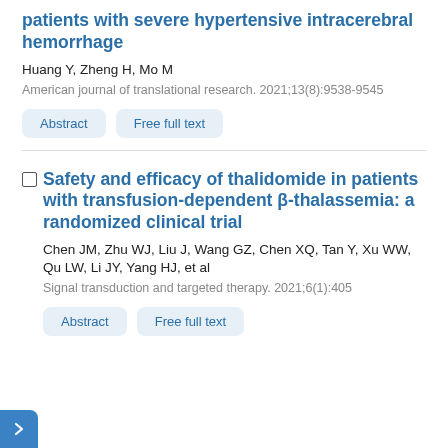patients with severe hypertensive intracerebral hemorrhage
Huang Y, Zheng H, Mo M
American journal of translational research. 2021;13(8):9538-9545
Safety and efficacy of thalidomide in patients with transfusion-dependent β-thalassemia: a randomized clinical trial
Chen JM, Zhu WJ, Liu J, Wang GZ, Chen XQ, Tan Y, Xu WW, Qu LW, Li JY, Yang HJ, et al
Signal transduction and targeted therapy. 2021;6(1):405